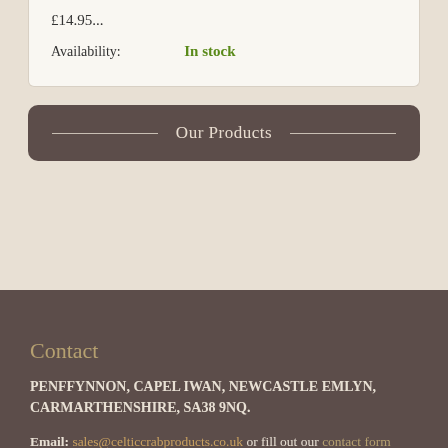£14.95...
Availability: In stock
Our Products
Contact
PENFFYNNON, CAPEL IWAN, NEWCASTLE EMLYN, CARMARTHENSHIRE, SA38 9NQ.
Email: sales@celticcrabproducts.co.uk or fill out our contact form
Direct Contact Number: 07831 251923